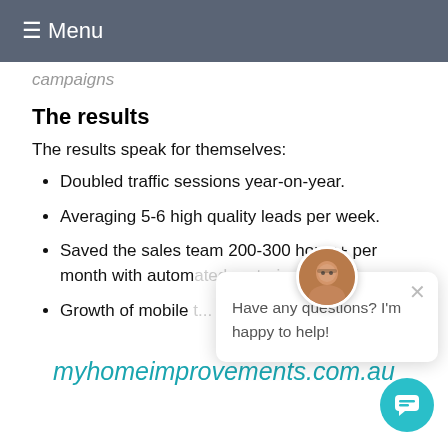≡ Menu
campaigns
The results
The results speak for themselves:
Doubled traffic sessions year-on-year.
Averaging 5-6 high quality leads per week.
Saved the sales team 200-300 hours+ per month with automated nurturing campa...
Growth of mobile t...
[Figure (illustration): Chat widget overlay showing a person avatar, close button X, and message 'Have any questions? I'm happy to help!']
myhomeimprovements.com.au